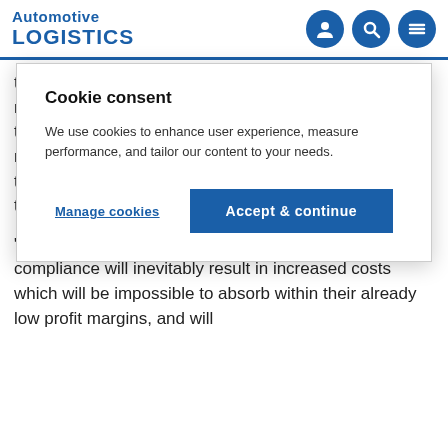Automotive LOGISTICS
Cookie consent
We use cookies to enhance user experience, measure performance, and tailor our content to your needs.
Manage cookies | Accept & continue
that the price of low-sulphur marine fuel could go up as much as 70% as it competes with diesel for road transport. In his view, this is largely because oil refineries, which tend to consider both fuels as almost the same product, have yet to signal any intent to boost their capacities.
“Whatever solution shipping lines will adopt, compliance will inevitably result in increased costs which will be impossible to absorb within their already low profit margins, and will